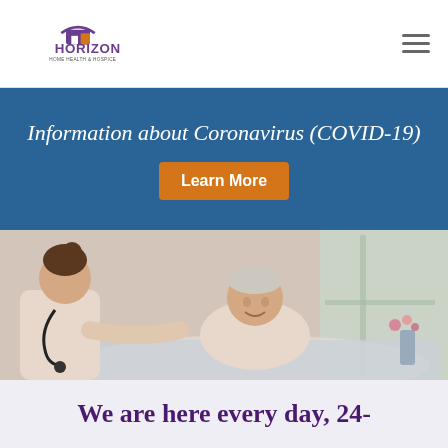Horizon Home Health & Hospice
Information about Coronavirus (COVID-19)   Learn More
[Figure (photo): A female nurse with a stethoscope leans toward an elderly woman lying in bed, both appear to be having a caring conversation in a bright home setting.]
We are here every day, 24-